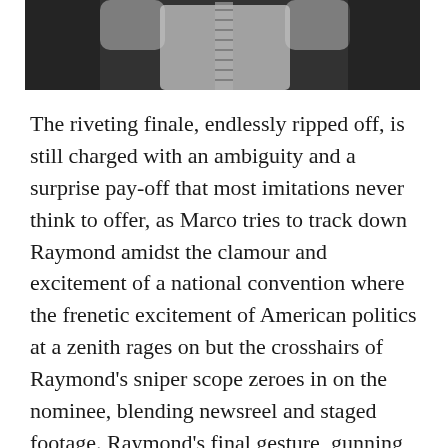[Figure (photo): Black and white photo showing a person from behind/below, partially cropped at top of page]
The riveting finale, endlessly ripped off, is still charged with an ambiguity and a surprise pay-off that most imitations never think to offer, as Marco tries to track down Raymond amidst the clamour and excitement of a national convention where the frenetic excitement of American politics at a zenith rages on but the crosshairs of Raymond’s sniper scope zeroes in on the nominee, blending newsreel and staged footage. Raymond’s final gesture, gunning down not his assigned target but his mother and stepfather, is both a cracking good comeuppance and last-second twist,